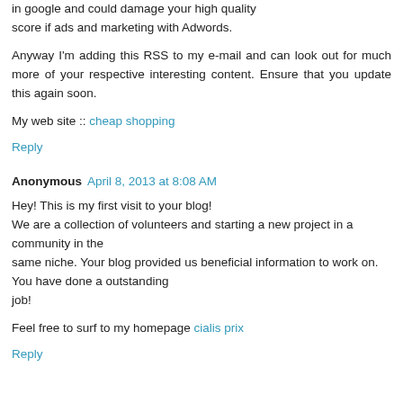in google and could damage your high quality score if ads and marketing with Adwords.
Anyway I'm adding this RSS to my e-mail and can look out for much more of your respective interesting content. Ensure that you update this again soon.
My web site :: cheap shopping
Reply
Anonymous April 8, 2013 at 8:08 AM
Hey! This is my first visit to your blog! We are a collection of volunteers and starting a new project in a community in the same niche. Your blog provided us beneficial information to work on. You have done a outstanding job!
Feel free to surf to my homepage cialis prix
Reply